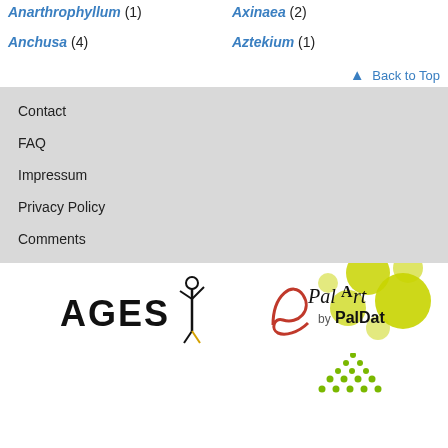Anarthrophyllum (1)
Axinaea (2)
Anchusa (4)
Aztekium (1)
↑ Back to Top
Contact
FAQ
Impressum
Privacy Policy
Comments
[Figure (logo): AGES logo with stylized figure and PalArt by PalDat logo with decorative yellow-green circles]
[Figure (logo): Partial green dotted triangle logo at bottom right]